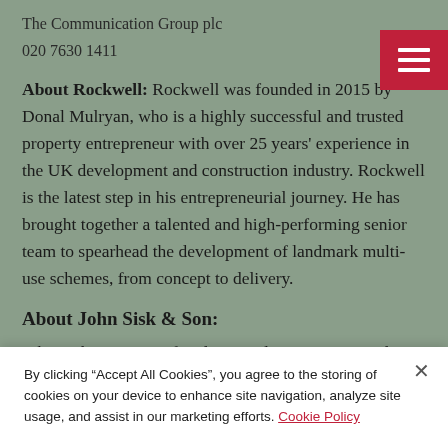The Communication Group plc
020 7630 1411
About Rockwell: Rockwell was founded in 2015 by Donal Mulryan, who is a highly successful and trusted property entrepreneur with over 25 years' experience in the UK development and construction industry. Rockwell is the latest step in his entrepreneurial journey. He has brought together a talented and high-performing senior team to spearhead the development of landmark multi-use schemes, from concept to delivery.
About John Sisk & Son:
John Sisk & Son is a family owned construction and engineering contractor celebrating 160 years in
By clicking “Accept All Cookies”, you agree to the storing of cookies on your device to enhance site navigation, analyze site usage, and assist in our marketing efforts. Cookie Policy